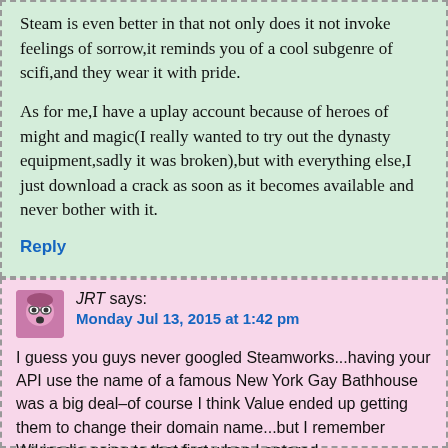Steam is even better in that not only does it not invoke feelings of sorrow,it reminds you of a cool subgenre of scifi,and they wear it with pride.
As for me,I have a uplay account because of heroes of might and magic(I really wanted to try out the dynasty equipment,sadly it was broken),but with everything else,I just download a crack as soon as it becomes available and never bother with it.
Reply
JRT says: Monday Jul 13, 2015 at 1:42 pm
I guess you guys never googled Steamworks...having your API use the name of a famous New York Gay Bathhouse was a big deal–of course I think Value ended up getting them to change their domain name...but I remember Wikipedia going to that first when I entered